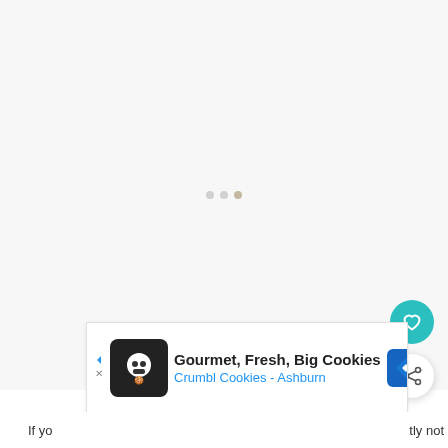[Figure (screenshot): Loading screen with light gray background and three small gray loading dots in the center. Two floating action buttons on the right side: a teal heart/favorite button and a white share button with shadow.]
[Figure (screenshot): Advertisement banner for Crumbl Cookies - Ashburn showing text 'Gourmet, Fresh, Big Cookies' with a skull chef logo, blue navigation diamond icon, and WW° brand logo on the right.]
If yo...  ...tly not